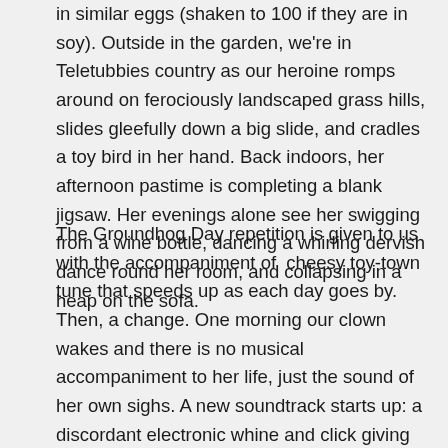in similar eggs (shaken to 100 if they are in soy). Outside in the garden, we're in Teletubbies country as our heroine romps around on ferociously landscaped grass hills, slides gleefully down a big slide, and cradles a toy bird in her hand. Back indoors, her afternoon pastime is completing a blank jigsaw. Her evenings alone see her swigging from a wine bottle, dancing a whirling dervish dance round her room, and collapsing in a heap on the sofa.
The Groundhog Day repetition is given to us with the accompaniment of  cheesy toy-town tune that speeds up as each day goes by. Then, a change. One morning our clown wakes and there is no musical accompaniment to her life, just the sound of her own sighs. A new soundtrack starts up: a discordant electronic whine and click giving way to a melancholic symphony. Everything is the same, but everything is different. Nothing is quite right. Breakfast, garden, little bird, jigsaw – all spoilt. Things go from bad to worse, until the arrival in the garden of a Deus Ex Machina brings resolution…